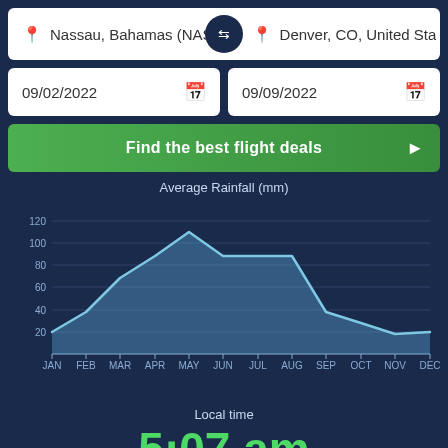Nassau, Bahamas (NAS-
Denver, CO, United Sta
09/02/2022
09/09/2022
Find the best flight deals
[Figure (area-chart): Average Rainfall (mm)]
Local time
5:07 am
GMT/UTC -05:00 hour